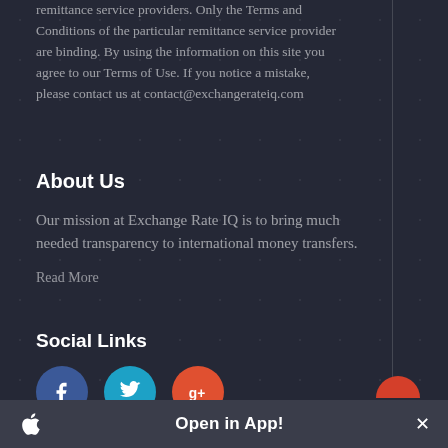remittance service providers. Only the Terms and Conditions of the particular remittance service provider are binding. By using the information on this site you agree to our Terms of Use. If you notice a mistake, please contact us at contact@exchangerateiq.com
About Us
Our mission at Exchange Rate IQ is to bring much needed transparency to international money transfers.
Read More
Social Links
[Figure (infographic): Three social media icon buttons: Facebook (blue circle with f), Twitter (cyan circle with bird), Google+ (red-orange circle with g+)]
Open in App!  ×